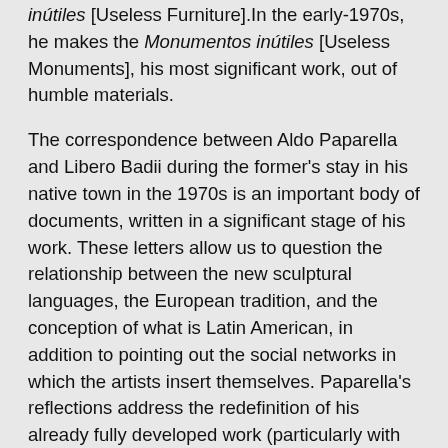inútiles [Useless Furniture].In the early-1970s, he makes the Monumentos inútiles [Useless Monuments], his most significant work, out of humble materials.
The correspondence between Aldo Paparella and Libero Badii during the former's stay in his native town in the 1970s is an important body of documents, written in a significant stage of his work. These letters allow us to question the relationship between the new sculptural languages, the European tradition, and the conception of what is Latin American, in addition to pointing out the social networks in which the artists insert themselves. Paparella's reflections address the redefinition of his already fully developed work (particularly with Monumentos inútiles made beginning in 1971, using cardboard, plaster, and rags), after considering it from his hometown and Mediterranean culture. In this letter, Paparella returns to his main concerns: the artist's freedom and the market imperative. It's worth emphasizing the defining role of these ideas on the concept of "inutilidad" [what is useless] as applied to his objects, which can no longer be separated